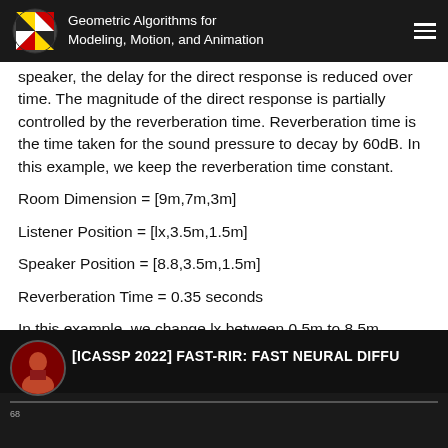Geometric Algorithms for Modeling, Motion, and Animation
speaker, the delay for the direct response is reduced over time. The magnitude of the direct response is partially controlled by the reverberation time. Reverberation time is the time taken for the sound pressure to decay by 60dB. In this example, we keep the reverberation time constant.
Room Dimension = [9m,7m,3m]
Listener Position = [lx,3.5m,1.5m]
Speaker Position = [8.8,3.5m,1.5m]
Reverberation Time = 0.35 seconds
In this example, we change lx between 0.5m to 8.5m.
[Figure (screenshot): Video thumbnail showing a person and the title [ICASSP 2022] FAST-RIR: FAST NEURAL DIFFU...]